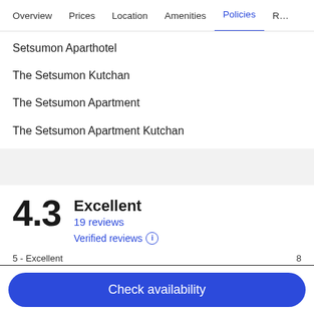Overview | Prices | Location | Amenities | Policies | R...
Setsumon Aparthotel
The Setsumon Kutchan
The Setsumon Apartment
The Setsumon Apartment Kutchan
4.3 Excellent
19 reviews
Verified reviews
5 - Excellent    8
4 - Good    9
Check availability